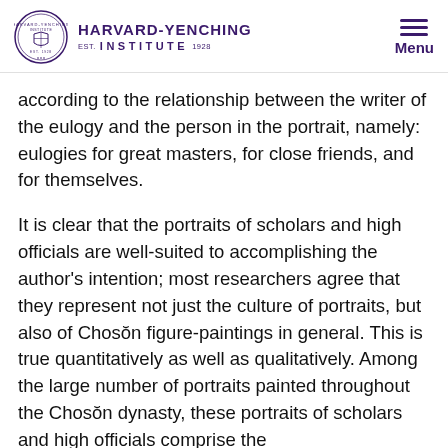HARVARD-YENCHING INSTITUTE
according to the relationship between the writer of the eulogy and the person in the portrait, namely: eulogies for great masters, for close friends, and for themselves.
It is clear that the portraits of scholars and high officials are well-suited to accomplishing the author's intention; most researchers agree that they represent not just the culture of portraits, but also of Chosŏn figure-paintings in general. This is true quantitatively as well as qualitatively. Among the large number of portraits painted throughout the Chosŏn dynasty, these portraits of scholars and high officials comprise the